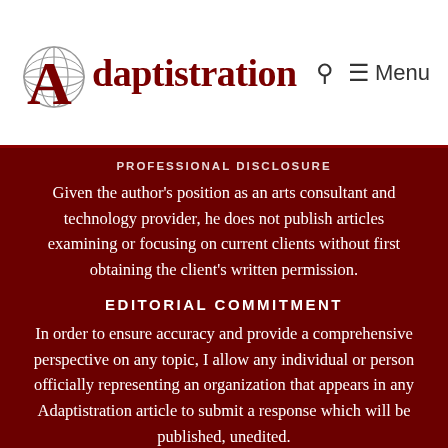Adaptistration — Menu
PROFESSIONAL DISCLOSURE
Given the author's position as an arts consultant and technology provider, he does not publish articles examining or focusing on current clients without first obtaining the client's written permission.
EDITORIAL COMMITMENT
In order to ensure accuracy and provide a comprehensive perspective on any topic, I allow any individual or person officially representing an organization that appears in any Adaptistration article to submit a response which will be published, unedited.